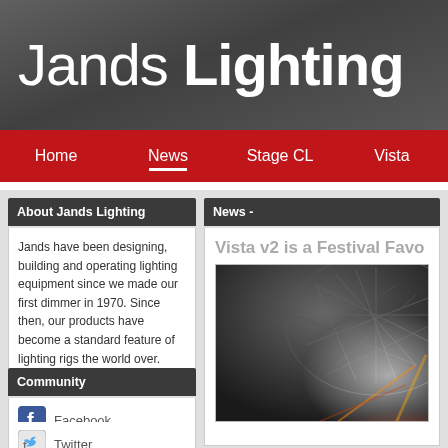Jands Lighting
Home | News | Stage CL | Vista
About Jands Lighting
Jands have been designing, building and operating lighting equipment since we made our first dimmer in 1970. Since then, our products have become a standard feature of lighting rigs the world over.
Community
Facebook
Twitter
News -
Vista v2 is a Festival Favo
[Figure (photo): Photo of a festival dome stage structure with dramatic lighting effects, steel geodesic framework visible against dark sky with orange/red light beams]